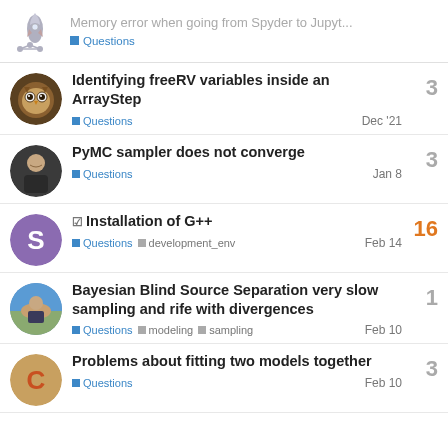Memory error when going from Spyder to Jupyt... Questions
Identifying freeRV variables inside an ArrayStep | Questions | Dec '21 | 3 replies
PyMC sampler does not converge | Questions | Jan 8 | 3 replies
Installation of G++ | Questions | development_env | Feb 14 | 16 replies
Bayesian Blind Source Separation very slow sampling and rife with divergences | Questions | modeling | sampling | Feb 10 | 1 reply
Problems about fitting two models together | Questions | Feb 10 | 3 replies